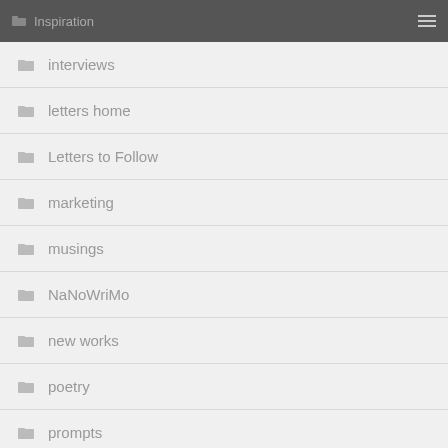Inspiration
interviews
letters home
Letters to Follow
marketing
musings
NaNoWriMo
new works
poetry
prompts